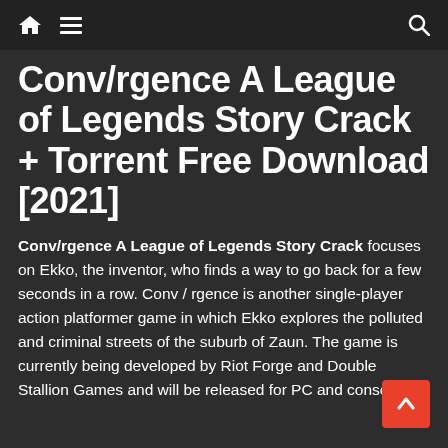Home | Menu | Search
Conv/rgence A League of Legends Story Crack + Torrent Free Download [2021]
Conv/rgence A League of Legends Story Crack focuses on Ekko, the inventor, who finds a way to go back for a few seconds in a row. Conv / rgence is another single-player action platformer game in which Ekko explores the polluted and criminal streets of the suburb of Zaun. The game is currently being developed by Riot Forge and Double Stallion Games and will be released for PC and consoles.